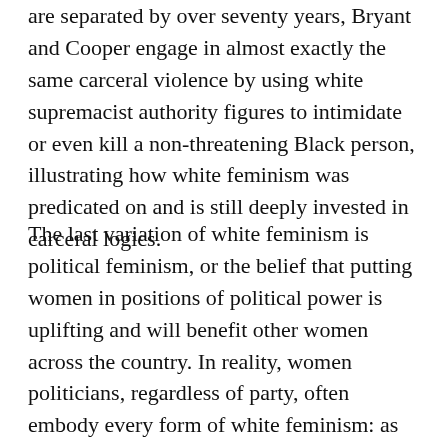are separated by over seventy years, Bryant and Cooper engage in almost exactly the same carceral violence by using white supremacist authority figures to intimidate or even kill a non-threatening Black person, illustrating how white feminism was predicated on and is still deeply invested in carceral logics.
The last variation of white feminism is political feminism, or the belief that putting women in positions of political power is uplifting and will benefit other women across the country. In reality, women politicians, regardless of party, often embody every form of white feminism: as working women, they are considered girl bosses. As prominent female figures, they are often used to make mainstream feminism seem glamorous or relatable: this summer, Kamala Harris and Chicago Mayor Lori Lightfoot graced the covers of